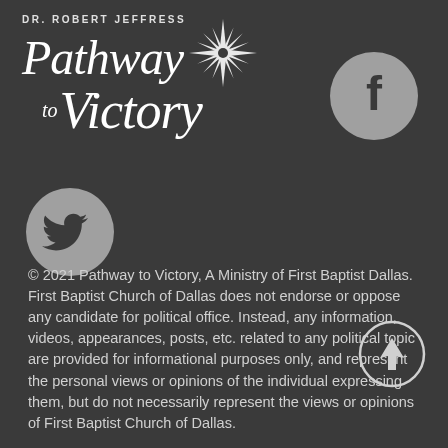[Figure (logo): Dr. Robert Jeffress Pathway to Victory logo with compass rose star, Facebook circle icon, Twitter circle icon, and back-to-top arrow circle]
© 2021 Pathway to Victory, A Ministry of First Baptist Dallas. First Baptist Church of Dallas does not endorse or oppose any candidate for political office. Instead, any information, videos, appearances, posts, etc. related to any political topic are provided for informational purposes only, and represent the personal views or opinions of the individual expressing them, but do not necessarily represent the views or opinions of First Baptist Church of Dallas.